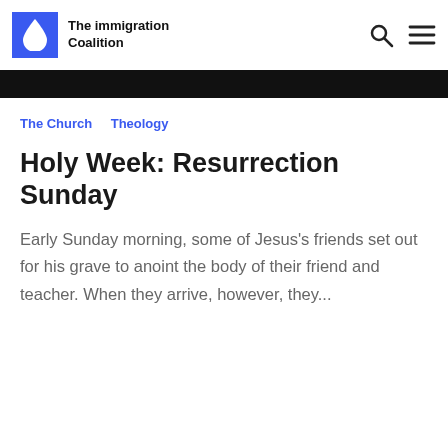The immigration Coalition
The Church  Theology
Holy Week: Resurrection Sunday
Early Sunday morning, some of Jesus's friends set out for his grave to anoint the body of their friend and teacher. When they arrive, however, they...